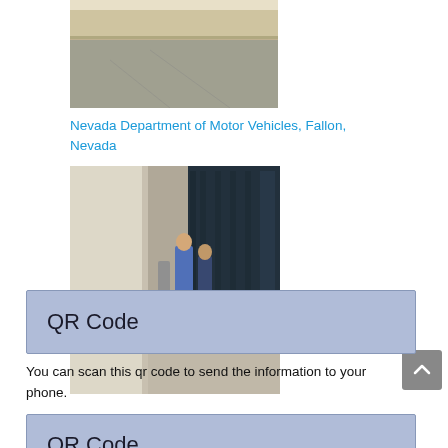[Figure (photo): Exterior photo of a building, showing a parking lot or road area with a low wall in the background.]
Nevada Department of Motor Vehicles, Fallon, Nevada
[Figure (photo): Photo showing a large column in the foreground, a sidewalk, people standing, and the glass facade of a building in the background.]
QR Code
You can scan this qr code to send the information to your phone.